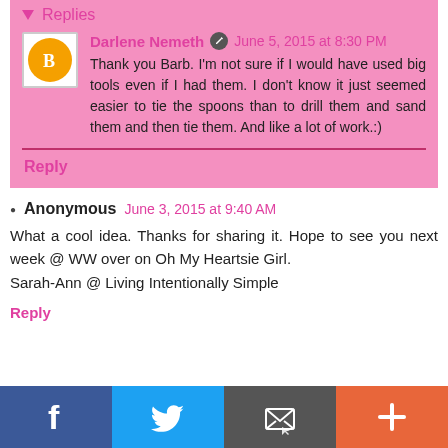Replies
Darlene Nemeth  June 5, 2015 at 8:30 PM
Thank you Barb. I'm not sure if I would have used big tools even if I had them. I don't know it just seemed easier to tie the spoons than to drill them and sand them and then tie them. And like a lot of work.:)
Reply
Anonymous  June 3, 2015 at 9:40 AM
What a cool idea. Thanks for sharing it. Hope to see you next week @ WW over on Oh My Heartsie Girl.
Sarah-Ann @ Living Intentionally Simple
Reply